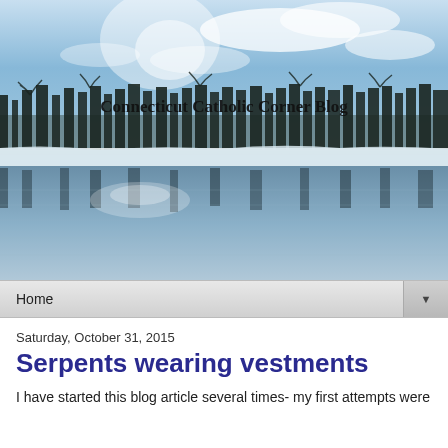[Figure (photo): Winter landscape photo of a frozen or calm lake with bare trees and snow along the shoreline, reflected in the still water. Sky is blue with some clouds. Text overlay reads 'Connecticut Catholic Corner Blog'.]
Home ▼
Saturday, October 31, 2015
Serpents wearing vestments
I have started this blog article several times- my first attempts were